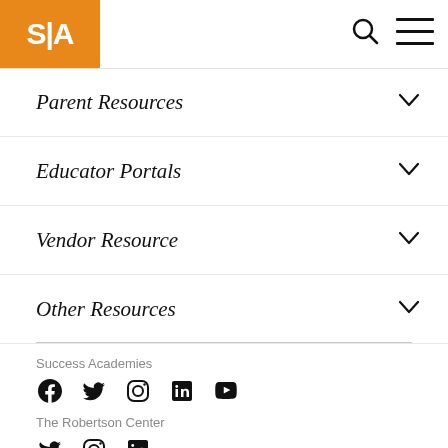S|A
Parent Resources
Educator Portals
Vendor Resource
Other Resources
Success Academies
[Figure (other): Social media icons: Facebook, Twitter, Instagram, LinkedIn, YouTube]
The Robertson Center
[Figure (other): Social media icons: Twitter, Instagram, LinkedIn]